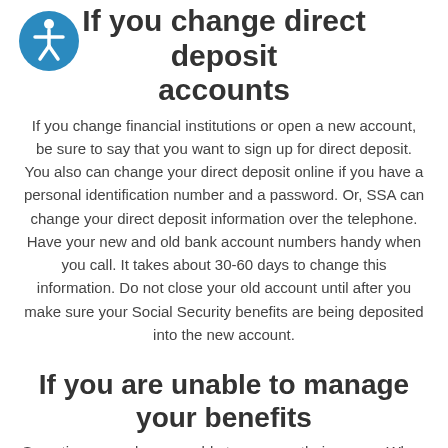[Figure (logo): Blue circular accessibility icon with white wheelchair figure]
If you change direct deposit accounts
If you change financial institutions or open a new account, be sure to say that you want to sign up for direct deposit. You also can change your direct deposit online if you have a personal identification number and a password. Or, SSA can change your direct deposit information over the telephone. Have your new and old bank account numbers handy when you call. It takes about 30-60 days to change this information. Do not close your old account until after you make sure your Social Security benefits are being deposited into the new account.
If you are unable to manage your benefits
Sometimes people are unable to manage their money. When this happens, Social Security should